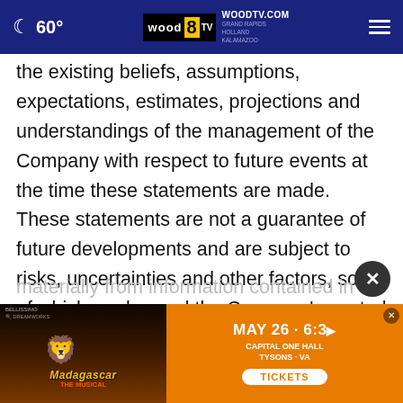60° | WOODTV.COM GRAND RAPIDS HOLLAND KALAMAZOO | wood 8 tv
the existing beliefs, assumptions, expectations, estimates, projections and understandings of the management of the Company with respect to future events at the time these statements are made. These statements are not a guarantee of future developments and are subject to risks, uncertainties and other factors, some of which are beyond the Company's control and are difficult to predict.
Conse... materially from information contained in the